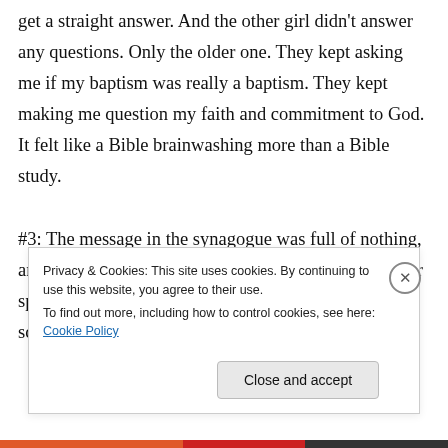get a straight answer. And the other girl didn't answer any questions. Only the older one. They kept asking me if my baptism was really a baptism. They kept making me question my faith and commitment to God. It felt like a Bible brainwashing more than a Bible study.

#3: The message in the synagogue was full of nothing, and we rarely read from the Old Testament. The pastor spent 30 minutes telling a story and 5 minutes on scripture. I stopped
Privacy & Cookies: This site uses cookies. By continuing to use this website, you agree to their use.
To find out more, including how to control cookies, see here: Cookie Policy